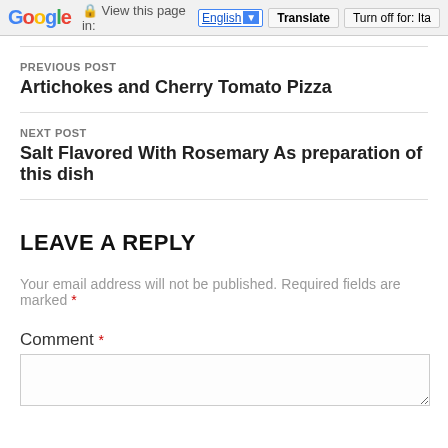Google  View this page in: English [▼]  Translate  Turn off for: Ita
PREVIOUS POST
Artichokes and Cherry Tomato Pizza
NEXT POST
Salt Flavored With Rosemary As preparation of this dish
LEAVE A REPLY
Your email address will not be published. Required fields are marked *
Comment *